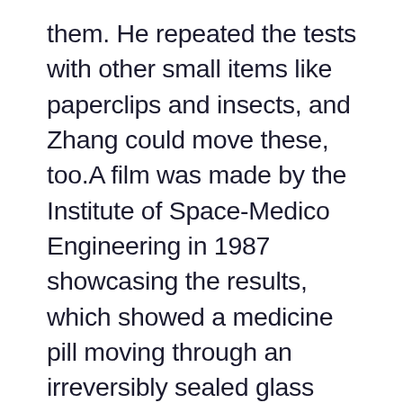them. He repeated the tests with other small items like paperclips and insects, and Zhang could move these, too.A film was made by the Institute of Space-Medico Engineering in 1987 showcasing the results, which showed a medicine pill moving through an irreversibly sealed glass vial, which occurred in three frames of a 400 frame per second film. (source)
Another release from the CIA (Research Into Paranormal Ability To Break Through Spatial Barriers) contains this description